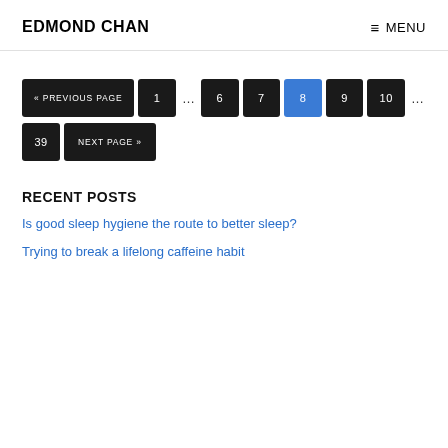EDMOND CHAN  ≡ MENU
« PREVIOUS PAGE  1  …  6  7  8  9  10  …  39  NEXT PAGE »
RECENT POSTS
Is good sleep hygiene the route to better sleep?
Trying to break a lifelong caffeine habit